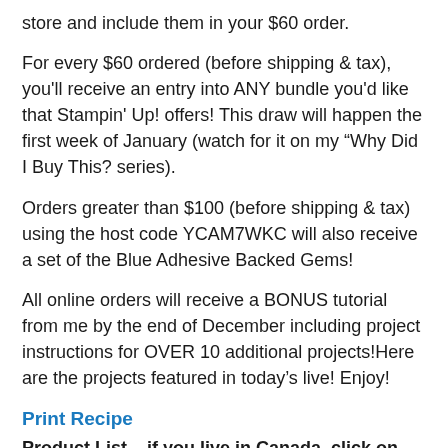store and include them in your $60 order.
For every $60 ordered (before shipping & tax), you'll receive an entry into ANY bundle you'd like that Stampin' Up! offers! This draw will happen the first week of January (watch for it on my “Why Did I Buy This? series).
Orders greater than $100 (before shipping & tax) using the host code YCAM7WKC will also receive a set of the Blue Adhesive Backed Gems!
All online orders will receive a BONUS tutorial from me by the end of December including project instructions for OVER 10 additional projects!Here are the projects featured in today’s live! Enjoy!
Print Recipe
Product List – if you live in Canada, click on the links